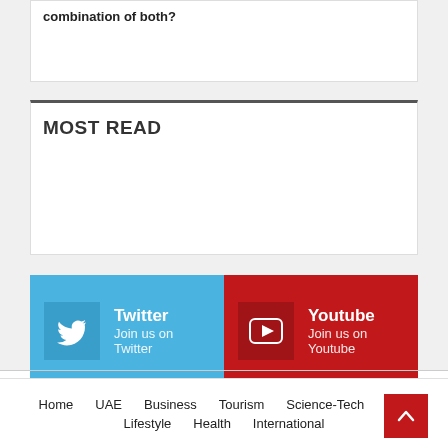combination of both?
MOST READ
[Figure (infographic): Social media links grid: Twitter (Join us on Twitter), Youtube (Join us on Youtube), Pinterest (Join us on Pinterest), Tumblr (Subscribers)]
Home  UAE  Business  Tourism  Science-Tech  Spo...  Lifestyle  Health  International